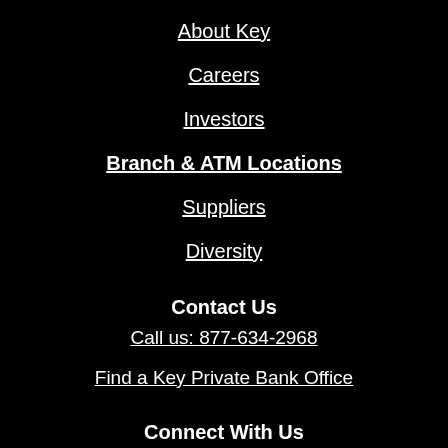About Key
Careers
Investors
Branch & ATM Locations
Suppliers
Diversity
Contact Us
Call us: 877-634-2968
Find a Key Private Bank Office
Connect With Us
[Figure (illustration): Four social media icons (Twitter, Facebook, LinkedIn, YouTube) in white circles on black background]